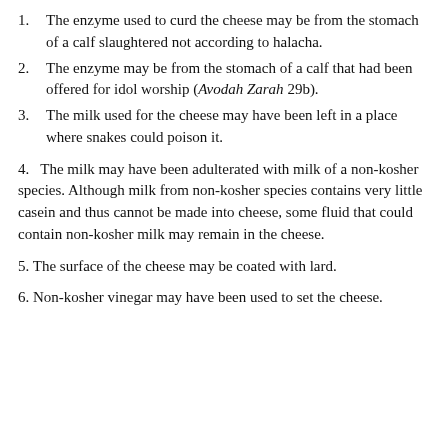1. The enzyme used to curd the cheese may be from the stomach of a calf slaughtered not according to halacha.
2. The enzyme may be from the stomach of a calf that had been offered for idol worship (Avodah Zarah 29b).
3. The milk used for the cheese may have been left in a place where snakes could poison it.
4. The milk may have been adulterated with milk of a non-kosher species. Although milk from non-kosher species contains very little casein and thus cannot be made into cheese, some fluid that could contain non-kosher milk may remain in the cheese.
5. The surface of the cheese may be coated with lard.
6. Non-kosher vinegar may have been used to set the cheese.